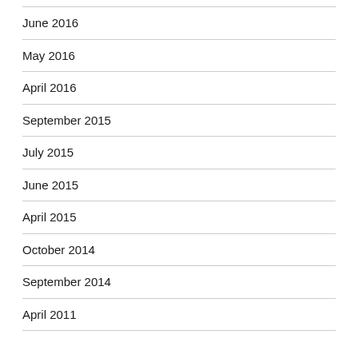June 2016
May 2016
April 2016
September 2015
July 2015
June 2015
April 2015
October 2014
September 2014
April 2011